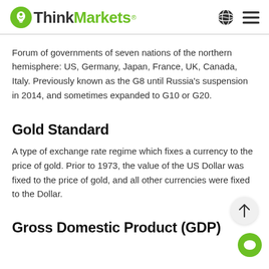ThinkMarkets
Forum of governments of seven nations of the northern hemisphere: US, Germany, Japan, France, UK, Canada, Italy. Previously known as the G8 until Russia's suspension in 2014, and sometimes expanded to G10 or G20.
Gold Standard
A type of exchange rate regime which fixes a currency to the price of gold. Prior to 1973, the value of the US Dollar was fixed to the price of gold, and all other currencies were fixed to the Dollar.
Gross Domestic Product (GDP)